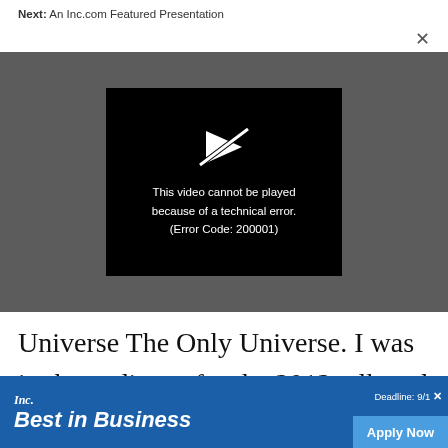Next: An Inc.com Featured Presentation
[Figure (screenshot): Video player showing error message: 'This video cannot be played because of a technical error. (Error Code: 200001)' on dark grey background with black error box and broken video icon.]
Universe The Only Universe. I was in the audience for the 2012 talk and was blown away by how he explained string theory in 20 minu
[Figure (infographic): Inc. Best in Business advertisement banner with blue background. Shows 'Inc. Best in Business' logo, 'Deadline: 9/1' and 'Apply Now' button.]